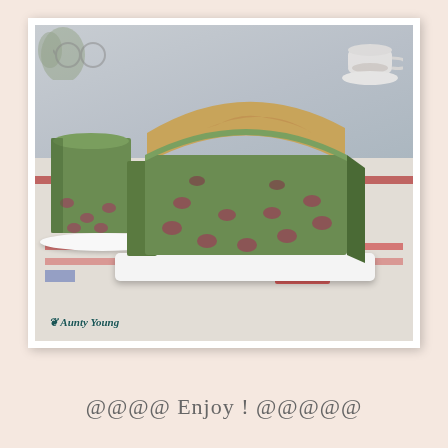[Figure (photo): Photograph of a green matcha loaf cake with red beans on a white rectangular plate, with a sliced piece showing the interior on the left, placed on a decorative tablecloth with patriotic pattern. A teacup is visible in the background. Watermark reads 'Aunty Young' in decorative script.]
@@@@ Enjoy ! @@@@@